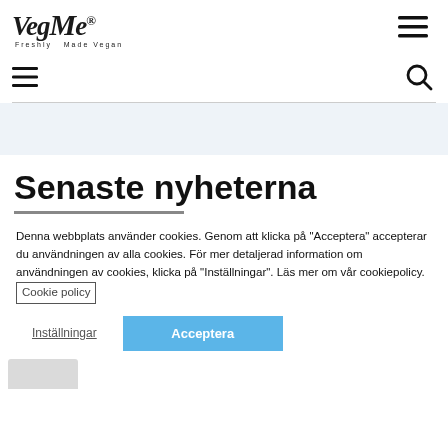[Figure (logo): VegMe logo with text 'Freshly Made Vegan' in italic serif font]
[Figure (other): Hamburger menu icon (three horizontal lines) top right]
[Figure (other): Hamburger menu icon (three horizontal lines) left side second nav]
[Figure (other): Search/magnifying glass icon right side second nav]
Senaste nyheterna
Denna webbplats använder cookies. Genom att klicka på "Acceptera" accepterar du användningen av alla cookies. För mer detaljerad information om användningen av cookies, klicka på "Inställningar". Läs mer om vår cookiepolicy. Cookie policy
Inställningar
Acceptera